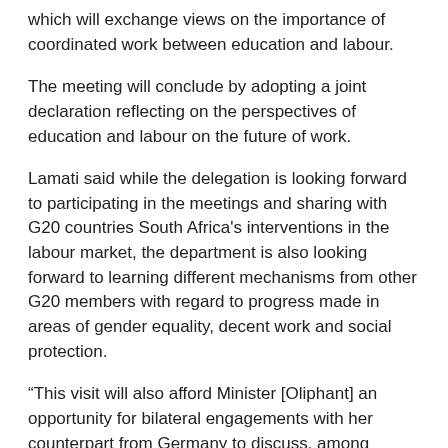which will exchange views on the importance of coordinated work between education and labour.
The meeting will conclude by adopting a joint declaration reflecting on the perspectives of education and labour on the future of work.
Lamati said while the delegation is looking forward to participating in the meetings and sharing with G20 countries South Africa's interventions in the labour market, the department is also looking forward to learning different mechanisms from other G20 members with regard to progress made in areas of gender equality, decent work and social protection.
“This visit will also afford Minister [Oliphant] an opportunity for bilateral engagements with her counterpart from Germany to discuss, among others, new areas of collaboration in view of the upcoming Binational Commission (BNC) scheduled for November 2018 in Pretoria.”
On the sidelines of the summit, Oliphant also met with...